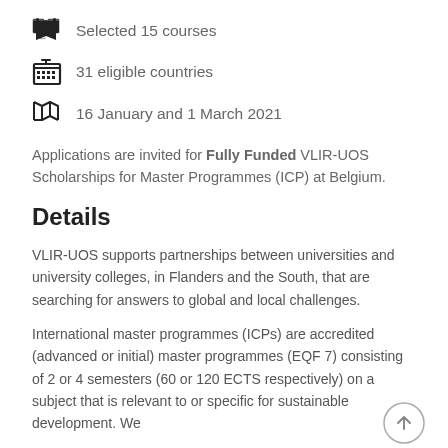Selected 15 courses
31 eligible countries
16 January and 1 March 2021
Applications are invited for Fully Funded VLIR-UOS Scholarships for Master Programmes (ICP) at Belgium.
Details
VLIR-UOS supports partnerships between universities and university colleges, in Flanders and the South, that are searching for answers to global and local challenges.
International master programmes (ICPs) are accredited (advanced or initial) master programmes (EQF 7) consisting of 2 or 4 semesters (60 or 120 ECTS respectively) on a subject that is relevant to or specific for sustainable development. We